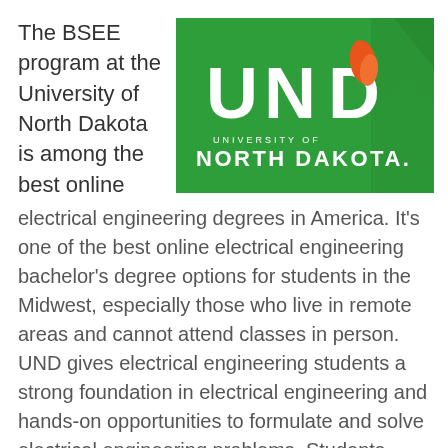The BSEE program at the University of North Dakota is among the best online
[Figure (logo): University of North Dakota logo on green background with UND letters and orange flame icon]
electrical engineering degrees in America. It's one of the best online electrical engineering bachelor's degree options for students in the Midwest, especially those who live in remote areas and cannot attend classes in person. UND gives electrical engineering students a strong foundation in electrical engineering and hands-on opportunities to formulate and solve electrical engineering problems. Students learn communication, teamwork and leadership and develop an